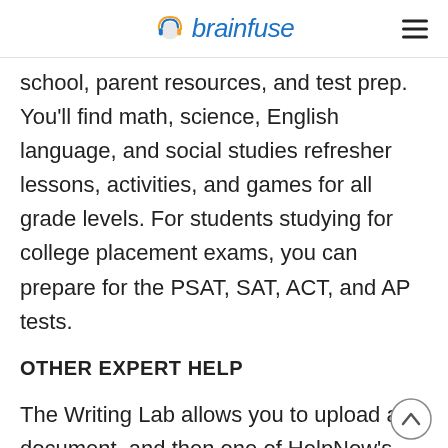brainfuse
school, parent resources, and test prep. You'll find math, science, English language, and social studies refresher lessons, activities, and games for all grade levels. For students studying for college placement exams, you can prepare for the PSAT, SAT, ACT, and AP tests.
OTHER EXPERT HELP
The Writing Lab allows you to upload a document, and then one of HelpNow's writing coaches will analyze it and provide helpful comments. They